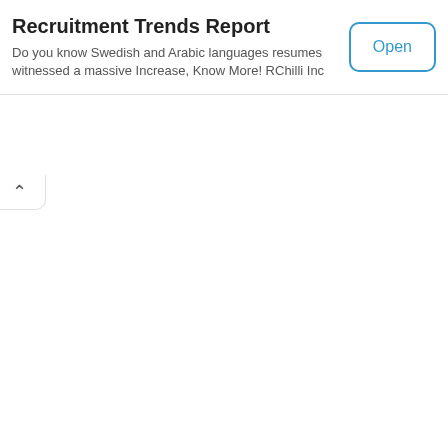Recruitment Trends Report
Do you know Swedish and Arabic languages resumes witnessed a massive Increase, Know More! RChilli Inc
[Figure (screenshot): Open button with blue border and text, rounded rectangle style]